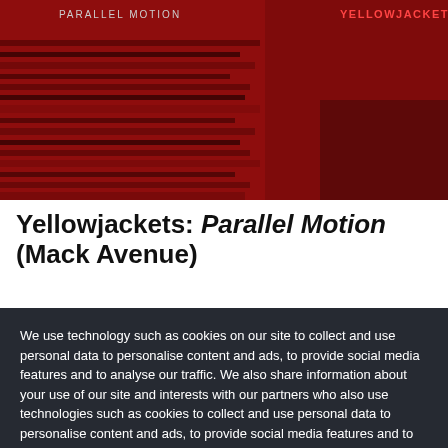[Figure (photo): Album cover image for Yellowjackets: Parallel Motion on a dark red background with horizontal stripe textures. Text 'PARALLEL MOTION' in gray and 'YELLOWJACKETS' in red overlaid on the image.]
Yellowjackets: Parallel Motion (Mack Avenue)
We use technology such as cookies on our site to collect and use personal data to personalise content and ads, to provide social media features and to analyse our traffic. We also share information about your use of our site and interests with our partners who also use technologies such as cookies to collect and use personal data to personalise content and ads, to provide social media features and to analyse our traffic on our site and across the internet. You can always change your mind and revisit your choices.